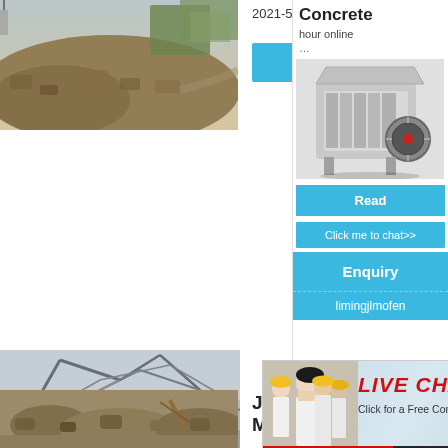[Figure (photo): Construction site with rubble/gravel mound, green structures in background]
2021-5-25   Detailed Desc…
Read More
[Figure (photo): Industrial steel framework structure / processing equipment]
[Figure (screenshot): Live Chat popup overlay with workers in hard hats. Title: LIVE CHAT. Subtitle: Click for a Free Consultation. Buttons: Chat now, Chat later. Close button (x).]
Concrete
hour online
…
[Figure (photo): Industrial jaw crusher / impact crusher machine, grey with red wheel]
Read
Click me to chat>>
Enquiry
limingjlmofen
[Figure (photo): Rocky ground / excavation site with construction equipment]
Jaw Cr… McLana…